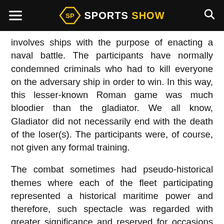SPORTS SHOW
involves ships with the purpose of enacting a naval battle. The participants have normally condemned criminals who had to kill everyone on the adversary ship in order to win. In this way, this lesser-known Roman game was much bloodier than the gladiator. We all know, Gladiator did not necessarily end with the death of the loser(s). The participants were, of course, not given any formal training.
The combat sometimes had pseudo-historical themes where each of the fleet participating represented a historical maritime power and therefore, such spectacle was regarded with greater significance and reserved for occasions like victory or the king's birthday. Speaking of the fleet, the largest recorded naumachia is said to have had a hundred ships. They were divided into two opposing fleets. It involved nineteen thousand participants set up in